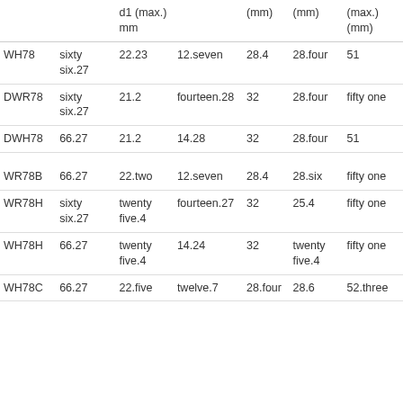|  |  | d1 (max.) mm |  | (mm) | (mm) | (max.) (mm) |
| --- | --- | --- | --- | --- | --- | --- |
| WH78 | sixty six.27 | 22.23 | 12.seven | 28.4 | 28.four | 51 |
| DWR78 | sixty six.27 | 21.2 | fourteen.28 | 32 | 28.four | fifty one |
| DWH78 | 66.27 | 21.2 | 14.28 | 32 | 28.four | 51 |
| WR78B | 66.27 | 22.two | 12.seven | 28.4 | 28.six | fifty one |
| WR78H | sixty six.27 | twenty five.4 | fourteen.27 | 32 | 25.4 | fifty one |
| WH78H | 66.27 | twenty five.4 | 14.24 | 32 | twenty five.4 | fifty one |
| WH78C | 66.27 | 22.five | twelve.7 | 28.four | 28.6 | 52.three |